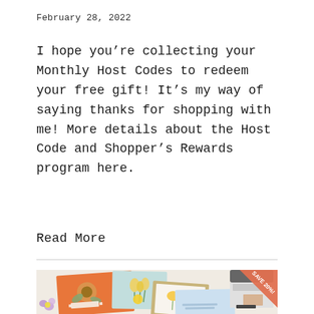February 28, 2022
I hope you’re collecting your Monthly Host Codes to redeem your free gift! It’s my way of saying thanks for shopping with me! More details about the Host Code and Shopper’s Rewards program here.
Read More
[Figure (photo): Photograph of handmade greeting cards with floral designs arranged on a light surface, alongside a stamping machine. A coral/orange banner in the top-right corner reads 'SAVE 20%'.]